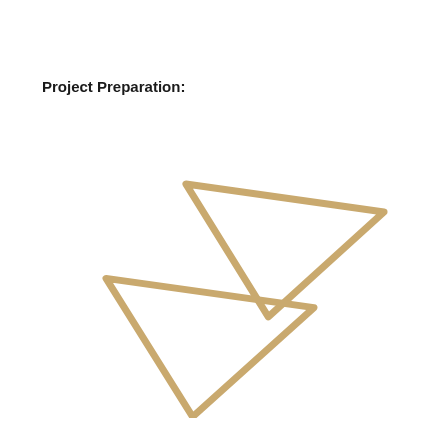Project Preparation:
[Figure (photo): Two gold/rose-gold open triangular wire earrings or jewelry components, overlapping slightly, photographed on a white background. The triangles are made of flat metal wire bent into triangle shapes, oriented pointing downward, with one triangle slightly above and to the right of the other.]